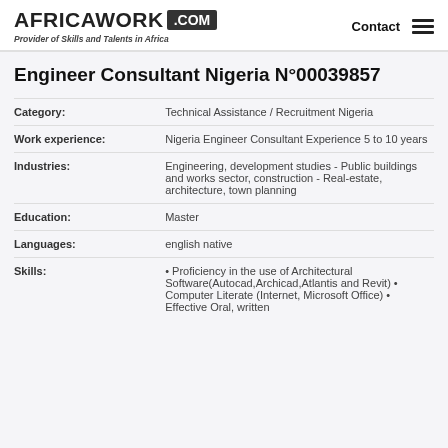AFRICAWORK .COM | Provider of Skills and Talents in Africa | Contact
Engineer Consultant Nigeria N°00039857
| Field | Value |
| --- | --- |
| Category: | Technical Assistance / Recruitment Nigeria |
| Work experience: | Nigeria Engineer Consultant Experience 5 to 10 years |
| Industries: | Engineering, development studies - Public buildings and works sector, construction - Real-estate, architecture, town planning |
| Education: | Master |
| Languages: | english native |
| Skills: | • Proficiency in the use of Architectural Software(Autocad,Archicad,Atlantis and Revit) • Computer Literate (Internet, Microsoft Office) • Effective Oral, written |